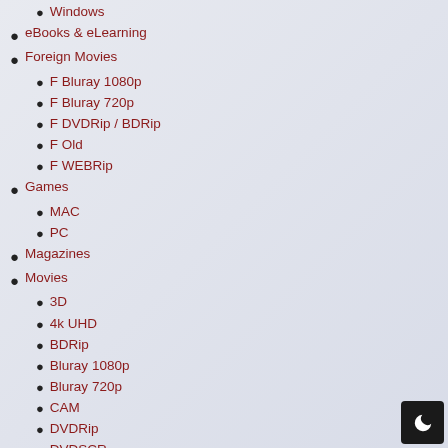Windows
eBooks & eLearning
Foreign Movies
F Bluray 1080p
F Bluray 720p
F DVDRip / BDRip
F Old
F WEBRip
Games
MAC
PC
Magazines
Movies
3D
4k UHD
BDRip
Bluray 1080p
Bluray 720p
CAM
DVDRip
DVDSCR
Extra
HDTV
Old
Telesync
TOP
WEBRip
Music
Album